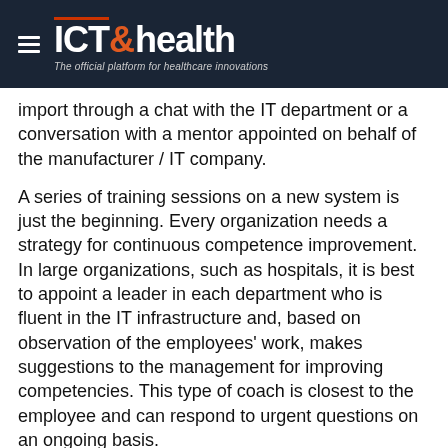ICT&health – The official platform for healthcare innovations
import through a chat with the IT department or a conversation with a mentor appointed on behalf of the manufacturer / IT company.
A series of training sessions on a new system is just the beginning. Every organization needs a strategy for continuous competence improvement. In large organizations, such as hospitals, it is best to appoint a leader in each department who is fluent in the IT infrastructure and, based on observation of the employees' work, makes suggestions to the management for improving competencies. This type of coach is closest to the employee and can respond to urgent questions on an ongoing basis.
Digital skills should be measured systematically – not to